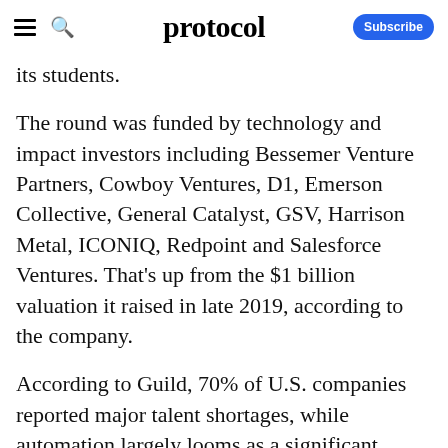protocol
its students.
The round was funded by technology and impact investors including Bessemer Venture Partners, Cowboy Ventures, D1, Emerson Collective, General Catalyst, GSV, Harrison Metal, ICONIQ, Redpoint and Salesforce Ventures. That's up from the $1 billion valuation it raised in late 2019, according to the company.
According to Guild, 70% of U.S. companies reported major talent shortages, while automation largely looms as a significant threat to American jobs as 47% of the total U.S.